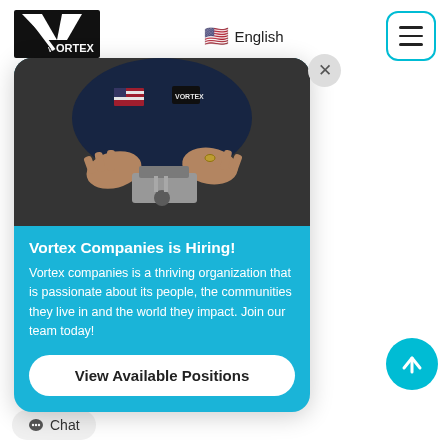[Figure (logo): Vortex Companies logo, black and white with stylized V and checkmark]
🇺🇸 English
[Figure (other): Hamburger menu icon inside rounded square border in cyan]
ction Gate:
Gate: What's the
[Figure (photo): Hands working on industrial equipment, person wearing Vortex branded shirt]
Vortex Companies is Hiring!
Vortex companies is a thriving organization that is passionate about its people, the communities they live in and the world they impact. Join our team today!
View Available Positions
Chat